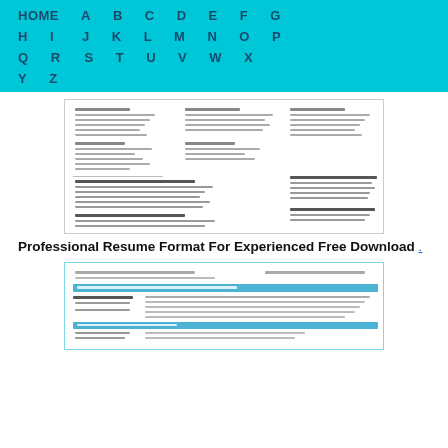HOME  A  B  C  D  E  F  G  H  I  J  K  L  M  N  O  P  Q  R  S  T  U  V  W  X  Y  Z
[Figure (screenshot): Blurred screenshot of a professional resume format document with three columns of text]
Professional Resume Format For Experienced Free Download .
[Figure (screenshot): Blurred screenshot of a second resume template with teal/blue header elements and form fields]